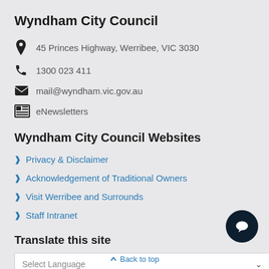Wyndham City Council
45 Princes Highway, Werribee, VIC 3030
1300 023 411
mail@wyndham.vic.gov.au
eNewsletters
Wyndham City Council Websites
Privacy & Disclaimer
Acknowledgement of Traditional Owners
Visit Werribee and Surrounds
Staff Intranet
Translate this site
Select Language
Back to top